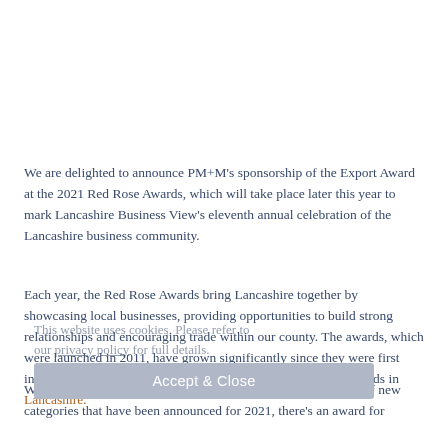We are delighted to announce PM+M's sponsorship of the Export Award at the 2021 Red Rose Awards, which will take place later this year to mark Lancashire Business View's eleventh annual celebration of the Lancashire business community.
Each year, the Red Rose Awards bring Lancashire together by showcasing local businesses, providing opportunities to build strong relationships and encouraging trade within our county. The awards, which were launched in 2011, have grown significantly since they were first introduced and are now recognised as the flagship business awards in Lancashire.
With over 20 categories available to enter, including a number of new categories that have been announced for 2021, there's an award for